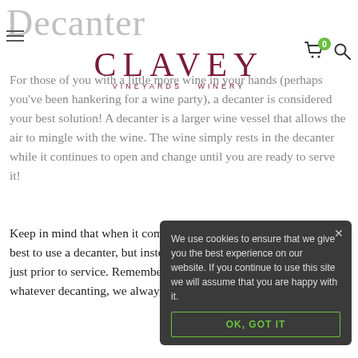Decanter
[Figure (logo): CLAVEY VINEYARDS WINERY logo in dark red/maroon serif font]
For those of you with a little more wine in your hands (perhaps you've been hankering for a wine party), a decanter is considered your best solution! A decanter is a larger wine vessel that allows the air to mingle with the wine. The wine simply rests in the decanter while it continues to open and change until you are ready to serve it!
Keep in mind that when it comes to very old wines (10+ years), it is best to use a decanter, but instead transfer the wine to a decanter just prior to service. Remember that at Clavey when it comes to whatever decanting, we always wish you the best wine experience!
We use cookies to ensure that we give you the best experience on our website. If you continue to use this site we will assume that you are happy with it.
OK, GOT IT